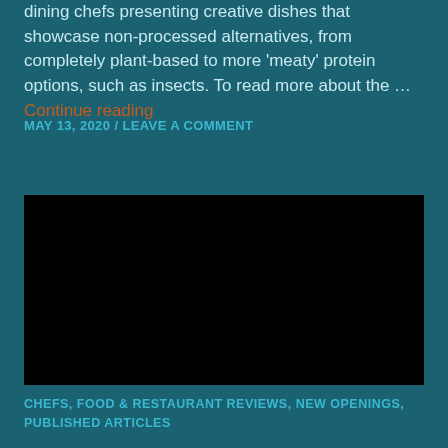dining chefs presenting creative dishes that showcase non-processed alternatives, from completely plant-based to more 'meaty' protein options, such as insects. To read more about the … Continue reading
MAY 13, 2020 / LEAVE A COMMENT
[Figure (photo): Black rectangle representing an embedded video or image placeholder]
CHEFS, FOOD & RESTAURANT REVIEWS, NEW OPENINGS, PUBLISHED ARTICLES